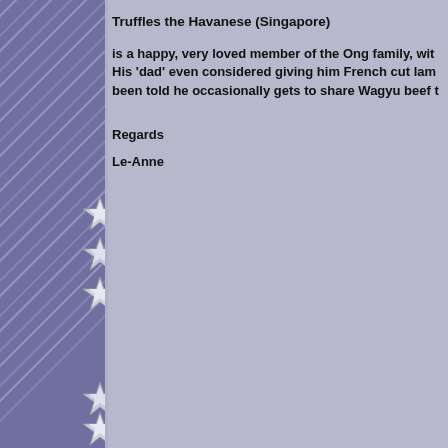Truffles the Havanese (Singapore)
is a happy, very loved member of the Ong family, wit... His 'dad' even considered giving him French cut lam... been told he occasionally gets to share Wagyu beef t...
Regards
Le-Anne